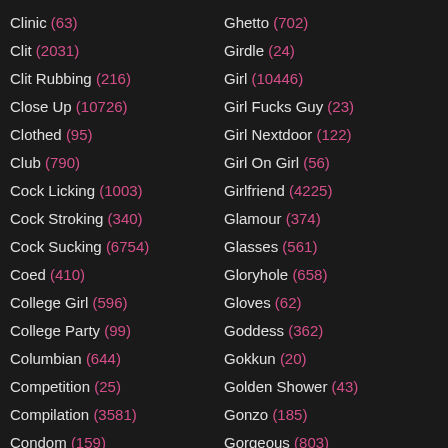Clinic (63)
Clit (2031)
Clit Rubbing (216)
Close Up (10726)
Clothed (95)
Club (790)
Cock Licking (1003)
Cock Stroking (340)
Cock Sucking (6754)
Coed (410)
College Girl (596)
College Party (99)
Columbian (644)
Competition (25)
Compilation (3581)
Condom (159)
Ghetto (702)
Girdle (24)
Girl (10446)
Girl Fucks Guy (23)
Girl Nextdoor (122)
Girl On Girl (56)
Girlfriend (4225)
Glamour (374)
Glasses (561)
Gloryhole (658)
Gloves (62)
Goddess (362)
Gokkun (20)
Golden Shower (43)
Gonzo (185)
Gorgeous (803)